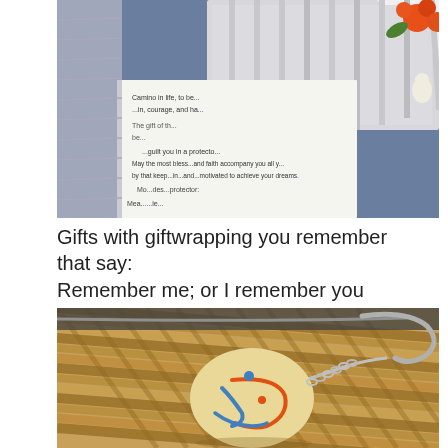[Figure (photo): A close-up photo of gift wrapping with a printed card/note showing text about the Camino, courage, faith, and dreams. Orange flowers and a small white figurine visible in background on a blue surface.]
Gifts with giftwrapping you remember that say: Remember me; or I remember you
[Figure (photo): A close-up photo of a round stone or ceramic keychain with a painted figure design in orange and blue, resting on a woven straw/basket surface. A metal keyring is attached.]